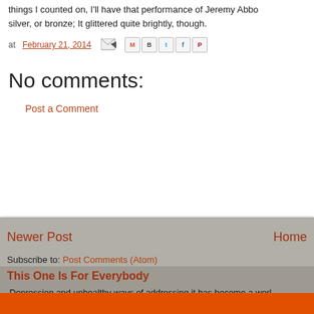things I counted on, I'll have that performance of Jeremy Abbo... silver, or bronze; It glittered quite brightly, though.
at February 21, 2014
No comments:
Post a Comment
Newer Post
Home
Subscribe to: Post Comments (Atom)
This One Is For Everybody
Depression and unhealthy ways of addressing it has become a worl... Pandemic shutdown. ...